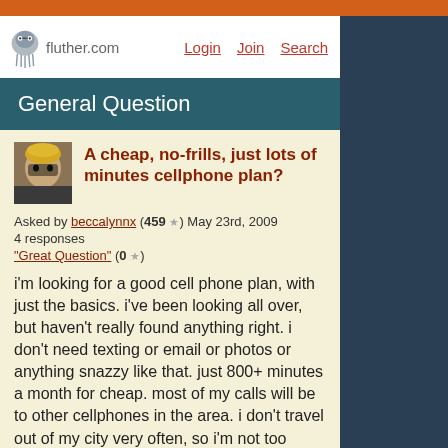fluther.com | Login | Join | Search
General Question
A cheap, no-frills, just lots of minutes cellphone plan?
Asked by beccalynnx (459 ★) May 23rd, 2009
4 responses
"Great Question" (0 ★)
i'm looking for a good cell phone plan, with just the basics. i've been looking all over, but haven't really found anything right. i don't need texting or email or photos or anything snazzy like that. just 800+ minutes a month for cheap. most of my calls will be to other cellphones in the area. i don't travel out of my city very often, so i'm not too concerned about roaming charges either. free nights and weekends would be nice, since maybe half of my calls will be during that time. any suggestions? i'm hoping i can find